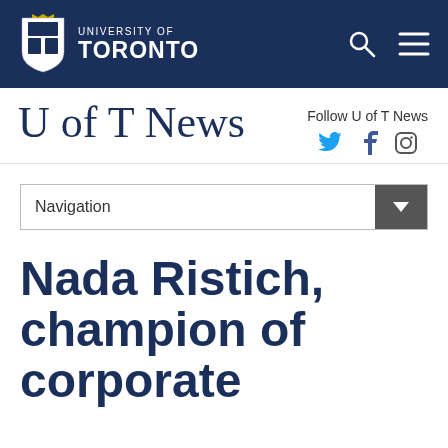University of Toronto
U of T News
Follow U of T News
Navigation
Nada Ristich, champion of corporate